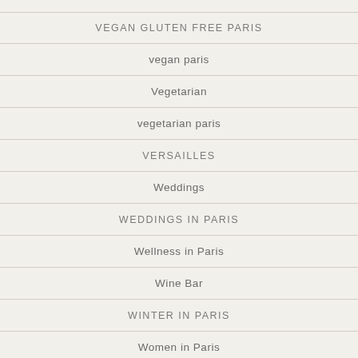VEGAN GLUTEN FREE PARIS
vegan paris
Vegetarian
vegetarian paris
VERSAILLES
Weddings
WEDDINGS IN PARIS
Wellness in Paris
Wine Bar
WINTER IN PARIS
Women in Paris